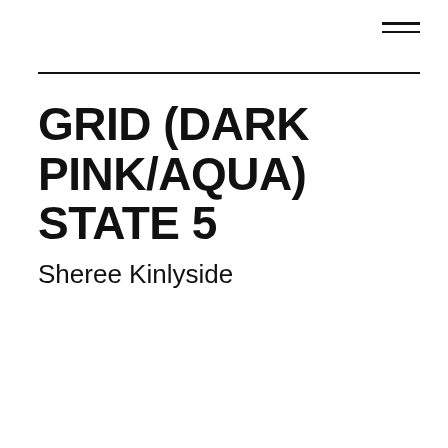GRID (DARK PINK/AQUA) STATE 5
Sheree Kinlyside